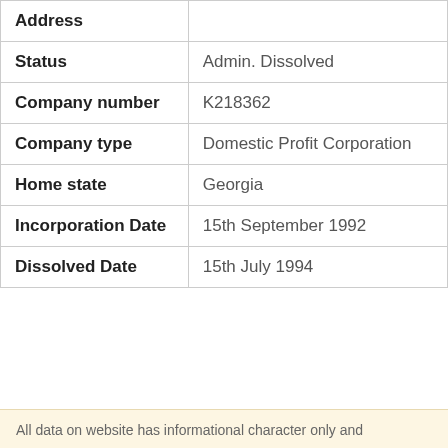| Field | Value |
| --- | --- |
| Address |  |
| Status | Admin. Dissolved |
| Company number | K218362 |
| Company type | Domestic Profit Corporation |
| Home state | Georgia |
| Incorporation Date | 15th September 1992 |
| Dissolved Date | 15th July 1994 |
All data on website has informational character only and